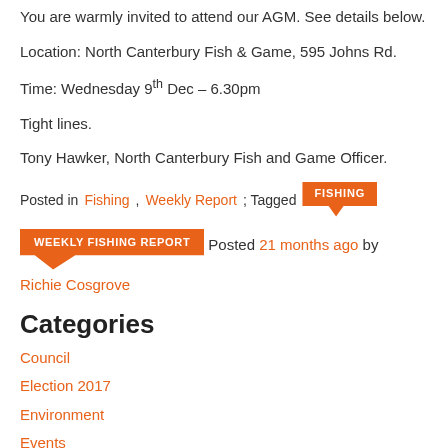You are warmly invited to attend our AGM. See details below.
Location: North Canterbury Fish & Game, 595 Johns Rd.
Time: Wednesday 9th Dec – 6.30pm
Tight lines.
Tony Hawker, North Canterbury Fish and Game Officer.
Posted in Fishing, Weekly Report; Tagged FISHING
WEEKLY FISHING REPORT Posted 21 months ago by Richie Cosgrove
Categories
Council
Election 2017
Environment
Events